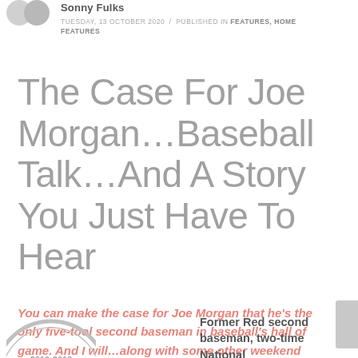Sonny Fulks
TUESDAY, 13 OCTOBER 2020 / PUBLISHED IN FEATURES, HOME FEATURES
The Case For Joe Morgan…Baseball Talk…And A Story You Just Have To Hear
You can make the case for Joe Morgan that he's the only five-tool second baseman in baseball's hall of game.  And I will…along with some other weekend 'entertainment'.
[Figure (logo): Circular badge/emblem with text 2010-2019]
Former Red second baseman, two-time National